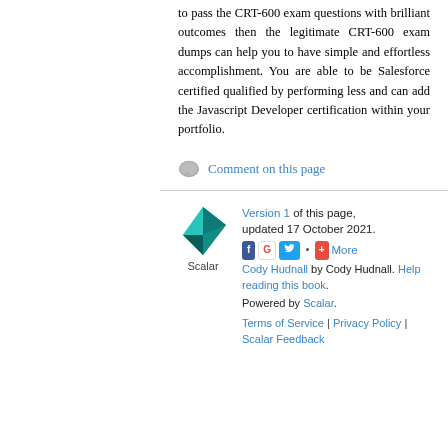to pass the CRT-600 exam questions with brilliant outcomes then the legitimate CRT-600 exam dumps can help you to have simple and effortless accomplishment. You are able to be Salesforce certified qualified by performing less and can add the Javascript Developer certification within your portfolio.
Comment on this page
[Figure (logo): Scalar logo - a teal/blue geometric diamond shape with the word Scalar below it]
Version 1 of this page, updated 17 October 2021. Cody Hudnall by Cody Hudnall. Help reading this book. Powered by Scalar. Terms of Service | Privacy Policy | Scalar Feedback